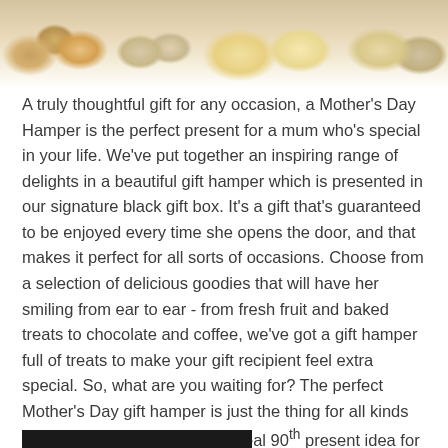[Figure (photo): Top banner photo showing an array of food items including popcorn, chocolates, cookies, crackers, and other gift hamper treats displayed on a white background]
A truly thoughtful gift for any occasion, a Mother's Day Hamper is the perfect present for a mum who's special in your life. We've put together an inspiring range of delights in a beautiful gift hamper which is presented in our signature black gift box. It's a gift that's guaranteed to be enjoyed every time she opens the door, and that makes it perfect for all sorts of occasions. Choose from a selection of delicious goodies that will have her smiling from ear to ear - from fresh fruit and baked treats to chocolate and coffee, we've got a gift hamper full of treats to make your gift recipient feel extra special. So, what are you waiting for? The perfect Mother's Day gift hamper is just the thing for all kinds of occasions and makes the ideal 90th present idea for any occasion.
[Figure (photo): Bottom black banner/bar at the bottom of the page]